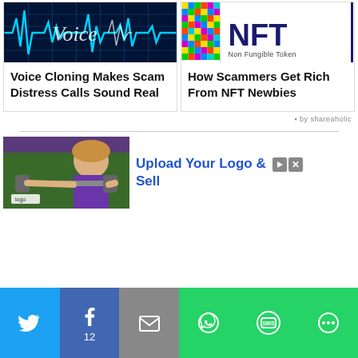[Figure (illustration): Voice cloning article thumbnail: blue glowing waveform with the word Voice written in cursive on a dark blue grid background]
Voice Cloning Makes Scam Distress Calls Sound Real
[Figure (illustration): NFT article thumbnail: colorful pixel mosaic on left, large bold NFT text with 'Non Fungible Token' subtitle on white background]
How Scammers Get Rich From NFT Newbies
by shareaholic
[Figure (photo): Advertisement image showing a woman in a purple shirt holding a barbell with a logo badge]
Upload Your Logo & Sell
Share buttons: Twitter, Facebook (12), Email, WhatsApp, SMS, More